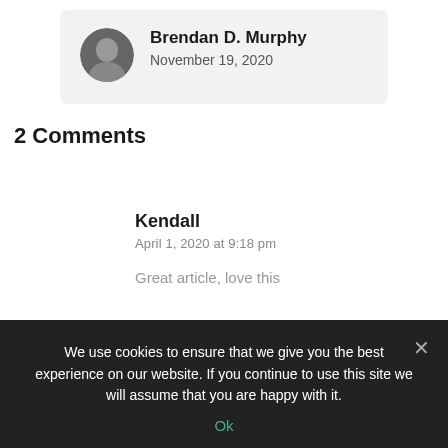Brendan D. Murphy
November 19, 2020
2 Comments
Kendall
April 1, 2020 at 9:18 pm
We use cookies to ensure that we give you the best experience on our website. If you continue to use this site we will assume that you are happy with it.
Ok